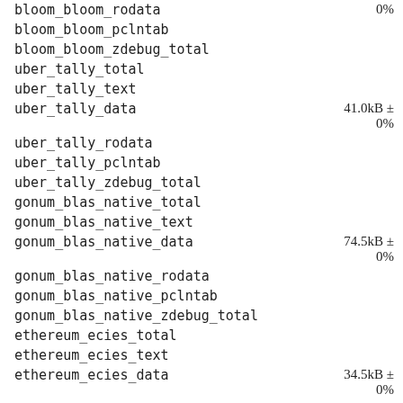| Name | Value |
| --- | --- |
| bloom_bloom_rodata | 0% |
| bloom_bloom_pclntab |  |
| bloom_bloom_zdebug_total |  |
| uber_tally_total |  |
| uber_tally_text |  |
| uber_tally_data | 41.0kB ± 0% |
| uber_tally_rodata |  |
| uber_tally_pclntab |  |
| uber_tally_zdebug_total |  |
| gonum_blas_native_total |  |
| gonum_blas_native_text |  |
| gonum_blas_native_data | 74.5kB ± 0% |
| gonum_blas_native_rodata |  |
| gonum_blas_native_pclntab |  |
| gonum_blas_native_zdebug_total |  |
| ethereum_ecies_total |  |
| ethereum_ecies_text |  |
| ethereum_ecies_data | 34.5kB ± 0% |
| ethereum_ecies_rodata |  |
| ethereum_ecies_pclntab |  |